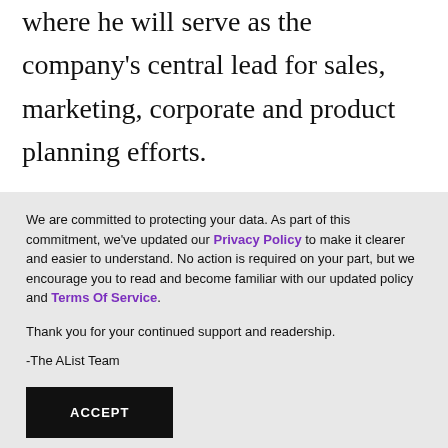where he will serve as the company's central lead for sales, marketing, corporate and product planning efforts.

“Kia’s sales, market share and brand awareness increased dramatically across Europe under Michael Cole’s leadership and his wealth of knowledge and
We are committed to protecting your data. As part of this commitment, we’ve updated our Privacy Policy to make it clearer and easier to understand. No action is required on your part, but we encourage you to read and become familiar with our updated policy and Terms Of Service.

Thank you for your continued support and readership.

-The AList Team